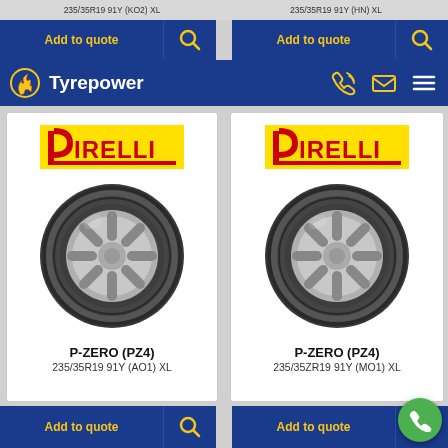235/35R19 91Y (KO2) XL | 235/35R19 91Y (HN) XL
[Figure (logo): Tyrepower logo with flame icon]
[Figure (screenshot): Two Pirelli P-ZERO (PZ4) tyre product cards with Add to quote buttons]
P-ZERO (PZ4)
235/35R19 91Y (AO1) XL
P-ZERO (PZ4)
235/35ZR19 91Y (MO1) XL